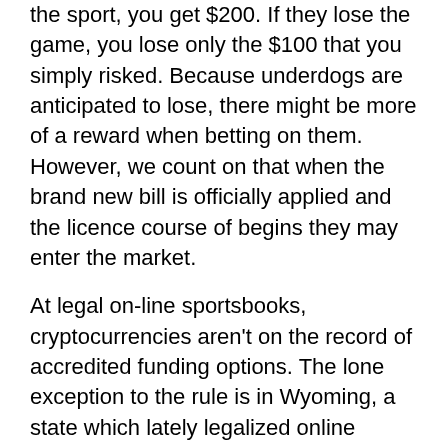the sport, you get $200. If they lose the game, you lose only the $100 that you simply risked. Because underdogs are anticipated to lose, there might be more of a reward when betting on them. However, we count on that when the brand new bill is officially applied and the licence course of begins they may enter the market.
At legal on-line sportsbooks, cryptocurrencies aren't on the record of accredited funding options. The lone exception to the rule is in Wyoming, a state which lately legalized online sports activities betting and has famous that cryptos are permitted for fee. Moving forward, we could see this turn out to be an possibility in different authorized states. For now, cryptocurrency choices are most commonly discovered on illegal and unregulated sites. New York started its authorized sports activities betting